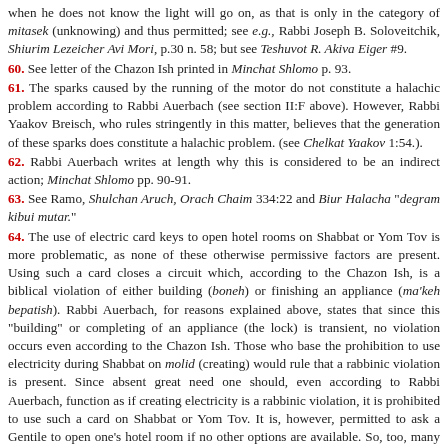when he does not know the light will go on, as that is only in the category of mitasek (unknowing) and thus permitted; see e.g., Rabbi Joseph B. Soloveitchik, Shiurim Lezeicher Avi Mori, p.30 n. 58; but see Teshuvot R. Akiva Eiger #9.
60. See letter of the Chazon Ish printed in Minchat Shlomo p. 93.
61. The sparks caused by the running of the motor do not constitute a halachic problem according to Rabbi Auerbach (see section II:F above). However, Rabbi Yaakov Breisch, who rules stringently in this matter, believes that the generation of these sparks does constitute a halachic problem. (see Chelkat Yaakov 1:54.).
62. Rabbi Auerbach writes at length why this is considered to be an indirect action; Minchat Shlomo pp. 90-91.
63. See Ramo, Shulchan Aruch, Orach Chaim 334:22 and Biur Halacha "degram kibui mutar."
64. The use of electric card keys to open hotel rooms on Shabbat or Yom Tov is more problematic, as none of these otherwise permissive factors are present. Using such a card closes a circuit which, according to the Chazon Ish, is a biblical violation of either building (boneh) or finishing an appliance (ma'keh bepatish). Rabbi Auerbach, for reasons explained above, states that since this "building" or completing of an appliance (the lock) is transient, no violation occurs even according to the Chazon Ish. Those who base the prohibition to use electricity during Shabbat on molid (creating) would rule that a rabbinic violation is present. Since absent great need one should, even according to Rabbi Auerbach, function as if creating electricity is a rabbinic violation, it is prohibited to use such a card on Shabbat or Yom Tov. It is, however, permitted to ask a Gentile to open one's hotel room if no other options are available. So, too, many authorities would permit one, in a case of need, to use the card in an unusual way (kelachar yad) to open the door. Cards which are mechanical, and not electric, may be used on Shabbat and Yom Tov.
65. Chelkat Yaakov 1:54, based on the comments of Rabbeinu Chananel Shabbat 120b... "Mazer Tov Yehuda"